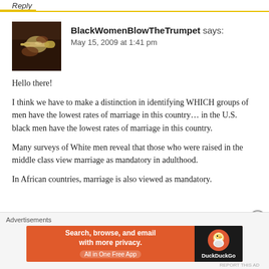Reply
[Figure (photo): Avatar photo of a person playing a trumpet, dark background]
BlackWomenBlowTheTrumpet says:
May 15, 2009 at 1:41 pm
Hello there!

I think we have to make a distinction in identifying WHICH groups of men have the lowest rates of marriage in this country… in the U.S. black men have the lowest rates of marriage in this country.

Many surveys of White men reveal that those who were raised in the middle class view marriage as mandatory in adulthood.

In African countries, marriage is also viewed as mandatory.
Advertisements
[Figure (screenshot): DuckDuckGo advertisement banner: Search, browse, and email with more privacy. All in One Free App.]
REPORT THIS AD